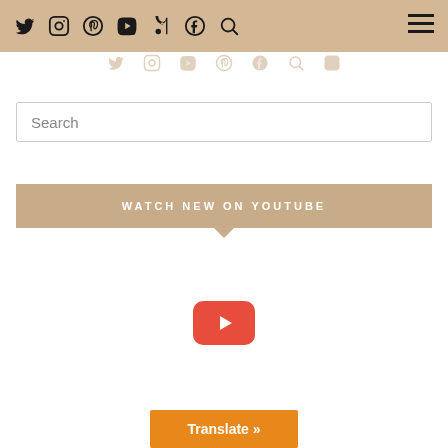Social media navigation bar with icons: Twitter, Instagram, Pinterest, YouTube, TikTok, Facebook, Search, and Hamburger menu
[Figure (screenshot): Faded watermark row of social media icons below the header bar]
Search
WATCH NEW ON YOUTUBE
[Figure (screenshot): YouTube embedded video player area with red play button in center]
Translate »